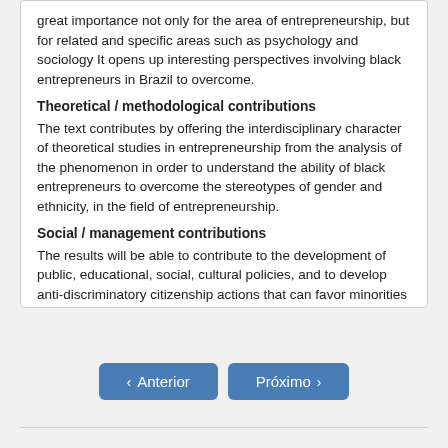great importance not only for the area of entrepreneurship, but for related and specific areas such as psychology and sociology It opens up interesting perspectives involving black entrepreneurs in Brazil to overcome.
Theoretical / methodological contributions
The text contributes by offering the interdisciplinary character of theoretical studies in entrepreneurship from the analysis of the phenomenon in order to understand the ability of black entrepreneurs to overcome the stereotypes of gender and ethnicity, in the field of entrepreneurship.
Social / management contributions
The results will be able to contribute to the development of public, educational, social, cultural policies, and to develop anti-discriminatory citizenship actions that can favor minorities that want to undertake.